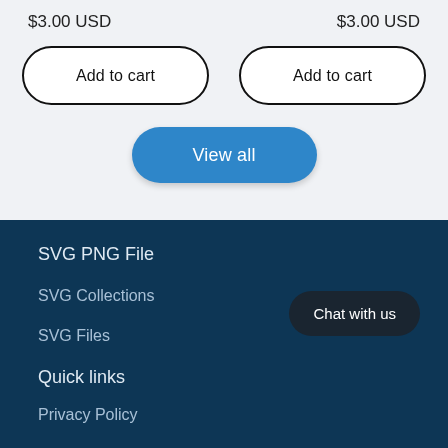$3.00 USD
$3.00 USD
Add to cart
Add to cart
View all
SVG PNG File
SVG Collections
SVG Files
Quick links
Chat with us
Privacy Policy